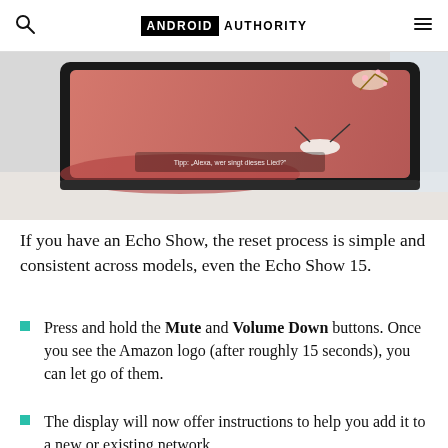Android Authority
[Figure (photo): Amazon Echo Show device on a table displaying a decorative screen with a bird/crane illustration and pink background. Text on screen reads: Tipp: "Alexa, wer singt dieses Lied?"]
If you have an Echo Show, the reset process is simple and consistent across models, even the Echo Show 15.
Press and hold the Mute and Volume Down buttons. Once you see the Amazon logo (after roughly 15 seconds), you can let go of them.
The display will now offer instructions to help you add it to a new or existing network.